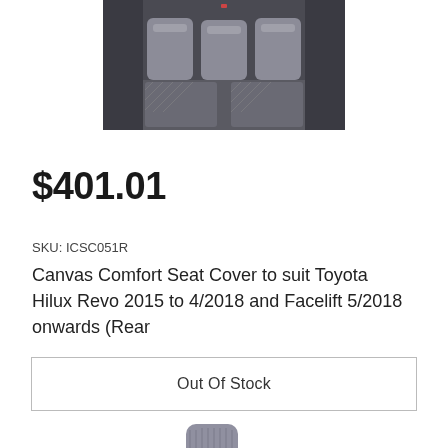[Figure (photo): Interior photo of a vehicle showing grey seat covers on rear bench seat with rubber floor mats visible]
$401.01
SKU: ICSC051R
Canvas Comfort Seat Cover to suit Toyota Hilux Revo 2015 to 4/2018 and Facelift 5/2018 onwards (Rear
Out Of Stock
[Figure (photo): Grey canvas seat cover product photo showing headrest and seat back]